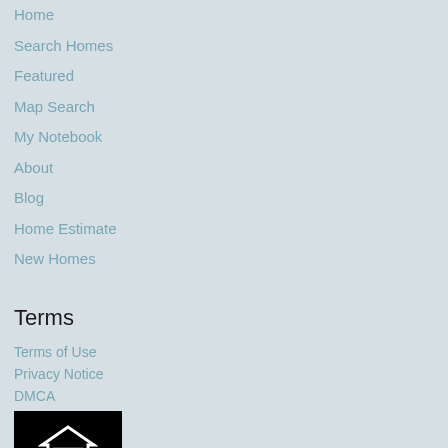Home
Search Homes
Featured
Map Search
My Notebook
About
Blog
Home Estimate
New Homes
Terms
Terms of Use
Privacy Notice
DMCA
[Figure (logo): Equal Housing Opportunity logo — black background with white house outline containing equal sign, text reads EQUAL HOUSING OPPORTUNITY]